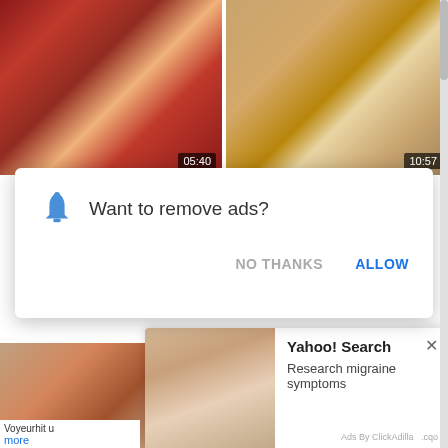[Figure (screenshot): Video thumbnail 1 with duration badge 05:40]
[Figure (screenshot): Video thumbnail 2 with duration badge 10:57]
[Figure (screenshot): Browser notification popup: bell icon, 'Want to remove ads?' with NO THANKS and ALLOW buttons]
[Figure (screenshot): Bottom video thumbnails row]
Voyeurhit u
more
[Figure (screenshot): Yahoo! Search ad popup with woman image, 'Research migraine symptoms', close button, 'Ads By ClickAdilla']